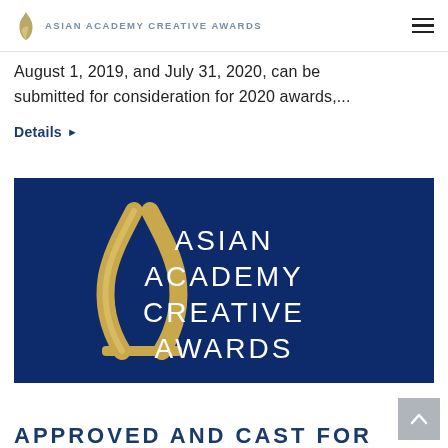ASIAN ACADEMY CREATIVE AWARDS
August 1, 2019, and July 31, 2020, can be submitted for consideration for 2020 awards,...
Details ▶
[Figure (logo): Asian Academy Creative Awards banner with golden trophy logo and white text on dark blue background]
...